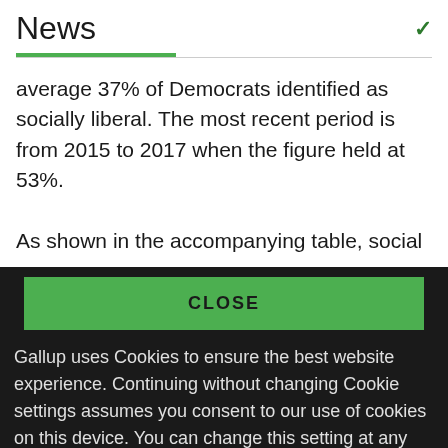News
average 37% of Democrats identified as socially liberal. The most recent period is from 2015 to 2017 when the figure held at 53%.
As shown in the accompanying table, social
CLOSE
Gallup uses Cookies to ensure the best website experience. Continuing without changing Cookie settings assumes you consent to our use of cookies on this device. You can change this setting at any time, but that may impair functionality on our websites.
Privacy Statement   Site Terms of Use and Sale
Product Terms of Use   Adjust your cookie settings.